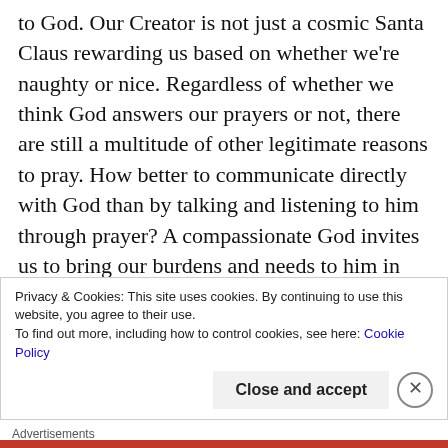to God. Our Creator is not just a cosmic Santa Claus rewarding us based on whether we're naughty or nice. Regardless of whether we think God answers our prayers or not, there are still a multitude of other legitimate reasons to pray. How better to communicate directly with God than by talking and listening to him through prayer? A compassionate God invites us to bring our burdens and needs to him in prayer and that same God frequently reveals himself more transparently to us when we petition him in a humble manner. Furthermore, when we pray, we're demonstrating our faith and
Privacy & Cookies: This site uses cookies. By continuing to use this website, you agree to their use.
To find out more, including how to control cookies, see here: Cookie Policy
Close and accept
Advertisements